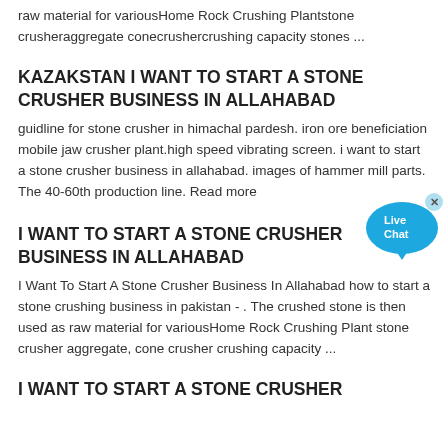raw material for variousHome Rock Crushing Plantstone crusheraggregate conecrushercrushing capacity stones ...
KAZAKSTAN I WANT TO START A STONE CRUSHER BUSINESS IN ALLAHABAD
guidline for stone crusher in himachal pardesh. iron ore beneficiation mobile jaw crusher plant.high speed vibrating screen. i want to start a stone crusher business in allahabad. images of hammer mill parts. The 40-60th production line. Read more
I WANT TO START A STONE CRUSHER BUSINESS IN ALLAHABAD
I Want To Start A Stone Crusher Business In Allahabad how to start a stone crushing business in pakistan - . The crushed stone is then used as raw material for variousHome Rock Crushing Plant stone crusher aggregate, cone crusher crushing capacity ...
I WANT TO START A STONE CRUSHER